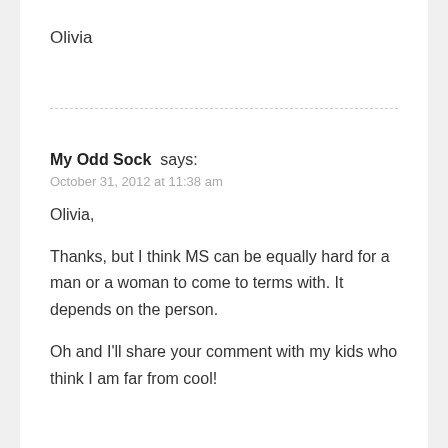Olivia
My Odd Sock says:
October 31, 2012 at 11:38 am
Olivia,

Thanks, but I think MS can be equally hard for a man or a woman to come to terms with. It depends on the person.

Oh and I'll share your comment with my kids who think I am far from cool!